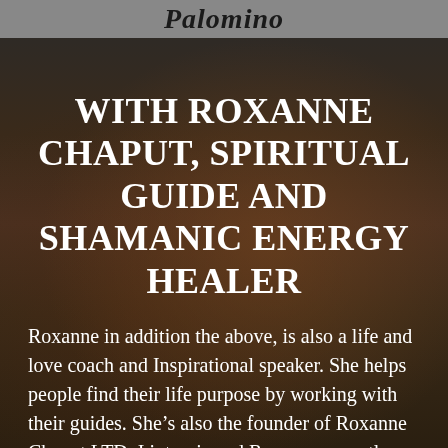Palomino
WITH ROXANNE CHAPUT, SPIRITUAL GUIDE AND SHAMANIC ENERGY HEALER
Roxanne in addition the above, is also a life and love coach and Inspirational speaker. She helps people find their life purpose by working with their guides. She’s also the founder of Roxanne Chaput LTD. I interviewed Roxanne recently about her childhood intuition that she was different from most others and destined to help people [...]